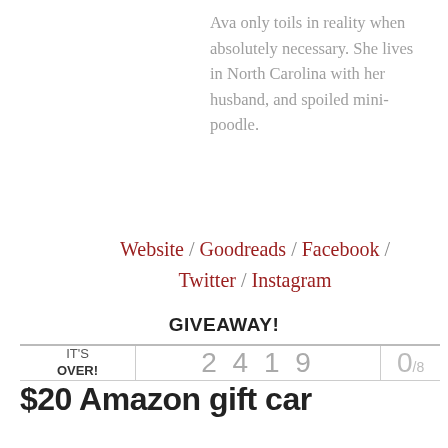Ava only toils in reality when absolutely necessary. She lives in North Carolina with her husband, and spoiled mini-poodle.
Website / Goodreads / Facebook / Twitter / Instagram
GIVEAWAY!
| IT'S OVER! | 2419 | 0/8 |
| --- | --- | --- |
| $20 Amazon gift car... |